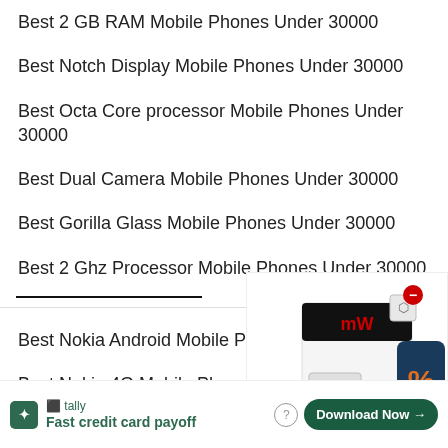Best 2 GB RAM Mobile Phones Under 30000
Best Notch Display Mobile Phones Under 30000
Best Octa Core processor Mobile Phones Under 30000
Best Dual Camera Mobile Phones Under 30000
Best Gorilla Glass Mobile Phones Under 30000
Best 2 Ghz Processor Mobile Phones Under 30000
Best Nokia Android Mobile Phones Under 5...
Best Nokia 4G Mobile Phones Under 5000
Best No...
Best No...
[Figure (illustration): Advertisement overlay showing a product box with a discount/percentage icon and a camera/device graphic]
[Figure (illustration): Tally app banner ad: Fast credit card payoff, with Download Now button]